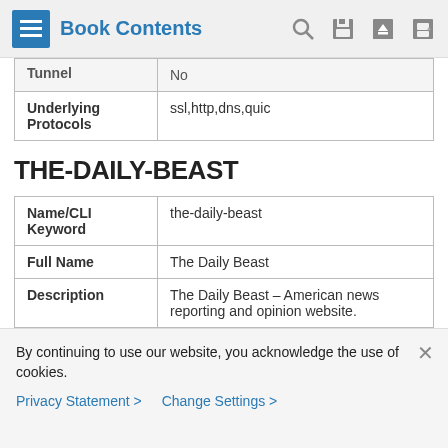Book Contents
| Tunnel | No |
| Underlying Protocols | ssl,http,dns,quic |
THE-DAILY-BEAST
| Name/CLI Keyword | the-daily-beast |
| Full Name | The Daily Beast |
| Description | The Daily Beast - American news reporting and opinion website. |
| Reference | http://thedailybeast.com |
By continuing to use our website, you acknowledge the use of cookies.
Privacy Statement > Change Settings >